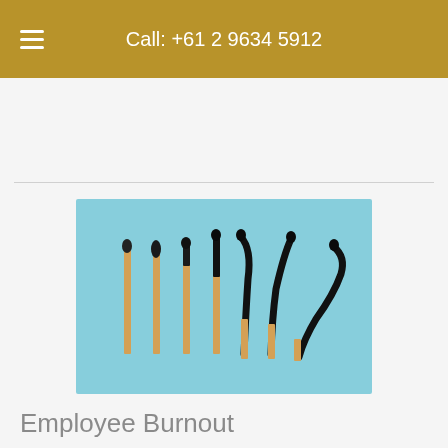Call: +61 2 9634 5912
[Figure (photo): Eight matchsticks on a light blue background showing progressive stages of burning — from an unburnt upright match on the left to completely burnt and curled/bent matchsticks on the right, illustrating the concept of employee burnout.]
Employee Burnout